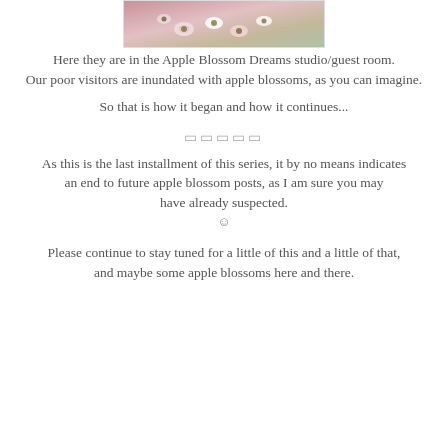[Figure (photo): Close-up photo of pink and white crocheted apple blossom flowers]
Here they are in the Apple Blossom Dreams studio/guest room.
Our poor visitors are inundated with apple blossoms, as you can imagine.
So that is how it began and how it continues...
□□□□□
As this is the last installment of this series, it by no means indicates
an end to future apple blossom posts, as I am sure you may have already suspected.
☺
Please continue to stay tuned for a little of this and a little of that,
and maybe some apple blossoms here and there.